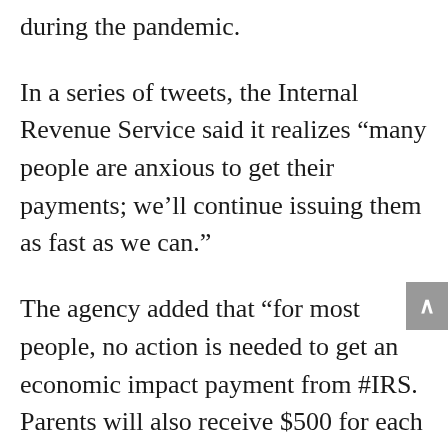during the pandemic.
In a series of tweets, the Internal Revenue Service said it realizes “many people are anxious to get their payments; we’ll continue issuing them as fast as we can.”
The agency added that “for most people, no action is needed to get an economic impact payment from #IRS. Parents will also receive $500 for each qualifying child under 17.”
These deposits come from the massive $2.2 trillion coronavirus recovery package